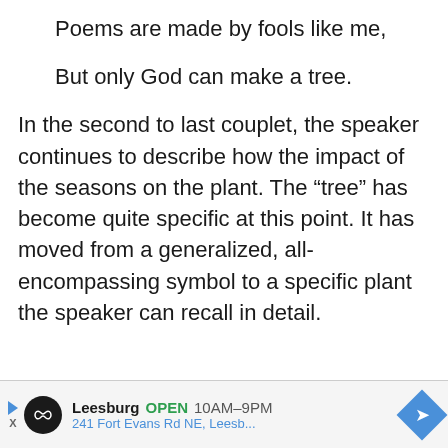Poems are made by fools like me,
But only God can make a tree.
In the second to last couplet, the speaker continues to describe how the impact of the seasons on the plant. The “tree” has become quite specific at this point. It has moved from a generalized, all-encompassing symbol to a specific plant the speaker can recall in detail.
[Figure (other): Advertisement bar for Leesburg store showing logo, open hours 10AM-9PM, address 241 Fort Evans Rd NE, Leesb...]